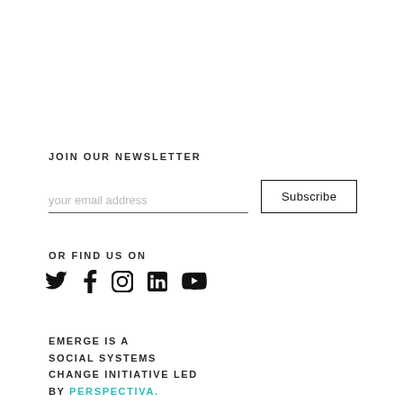JOIN OUR NEWSLETTER
your email address  [Subscribe button]
OR FIND US ON
[Figure (other): Social media icons: Twitter, Facebook, Instagram, LinkedIn, YouTube]
EMERGE IS A SOCIAL SYSTEMS CHANGE INITIATIVE LED BY PERSPECTIVA.